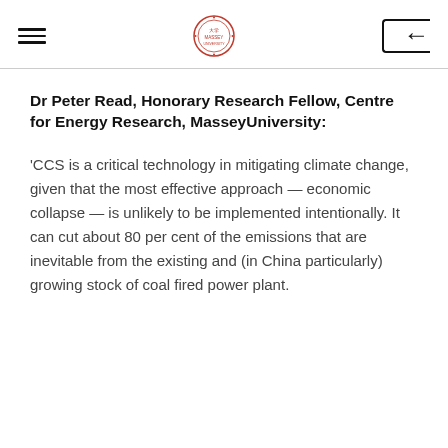[hamburger menu] [Massey University logo] [back icon]
Dr Peter Read, Honorary Research Fellow, Centre for Energy Research, MasseyUniversity:
'CCS is a critical technology in mitigating climate change, given that the most effective approach — economic collapse — is unlikely to be implemented intentionally. It can cut about 80 per cent of the emissions that are inevitable from the existing and (in China particularly) growing stock of coal fired power plant.